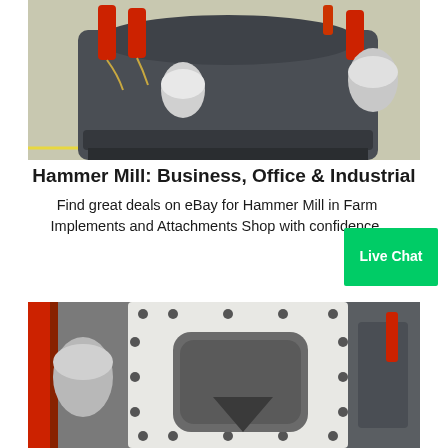[Figure (photo): Industrial hammer mill machine with red hydraulic components and silver accumulators mounted on a grey steel body, photographed in a factory setting.]
Hammer Mill: Business, Office & Industrial
Find great deals on eBay for Hammer Mill in Farm Implements and Attachments Shop with confidence.
[Figure (other): Live Chat button — green rectangular button with white text reading 'Live Chat']
[Figure (photo): White metal housing/casing of a hammer mill with bolt holes around the edges and a large rectangular opening, photographed in an industrial workshop with red structural beams visible in background.]